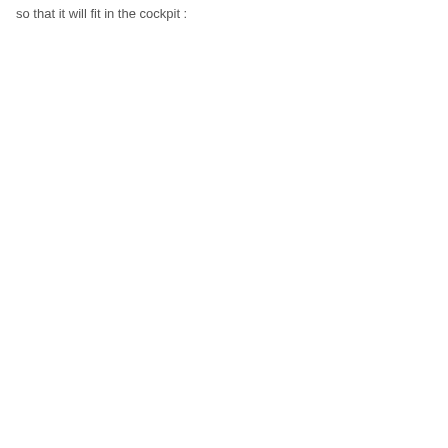so that it will fit in the cockpit :